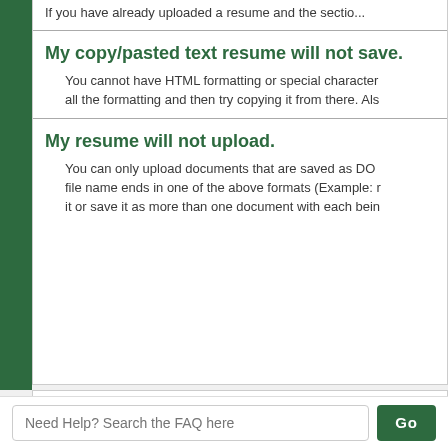If you have already uploaded a resume and the section...
My copy/pasted text resume will not save.
You cannot have HTML formatting or special characters all the formatting and then try copying it from there. Als...
My resume will not upload.
You can only upload documents that are saved as DOC... file name ends in one of the above formats (Example: r... it or save it as more than one document with each bein...
VIEWING ISSUES
Need Help? Search the FAQ here